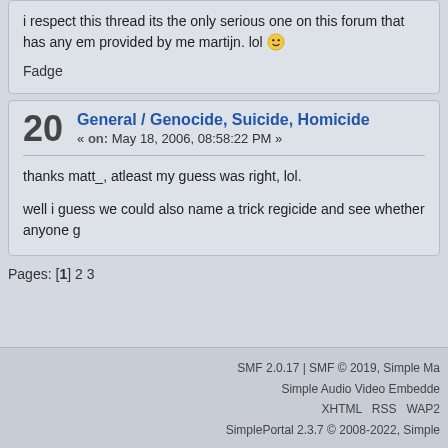i respect this thread its the only serious one on this forum that has any em... provided by me martijn. lol 😀
Fadge
20  General / Genocide, Suicide, Homicide  « on: May 18, 2006, 08:58:22 PM »
thanks matt_, atleast my guess was right, lol.
well i guess we could also name a trick regicide and see whether anyone g...
Pages: [1] 2 3
SMF 2.0.17 | SMF © 2019, Simple Ma... | Simple Audio Video Embedde... | XHTML  RSS  WAP2 | SimplePortal 2.3.7 © 2008-2022, Simple...